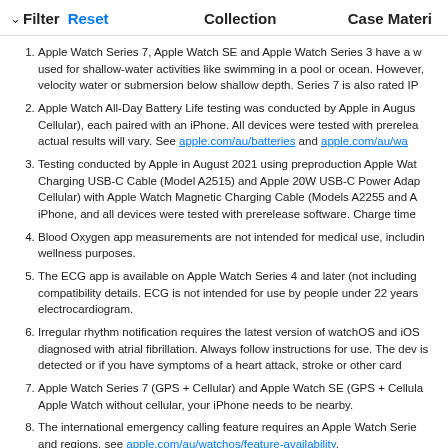Filter  Reset  Collection  Case Material
Apple Watch Series 7, Apple Watch SE and Apple Watch Series 3 have a w... used for shallow-water activities like swimming in a pool or ocean. However, velocity water or submersion below shallow depth. Series 7 is also rated IP...
Apple Watch All-Day Battery Life testing was conducted by Apple in August... Cellular), each paired with an iPhone. All devices were tested with prerelea... actual results will vary. See apple.com/au/batteries and apple.com/au/wa...
Testing conducted by Apple in August 2021 using preproduction Apple Wat... Charging USB-C Cable (Model A2515) and Apple 20W USB-C Power Adap... Cellular) with Apple Watch Magnetic Charging Cable (Models A2255 and A... iPhone, and all devices were tested with prerelease software. Charge time...
Blood Oxygen app measurements are not intended for medical use, includi... wellness purposes.
The ECG app is available on Apple Watch Series 4 and later (not including... compatibility details. ECG is not intended for use by people under 22 years... electrocardiogram.
Irregular rhythm notification requires the latest version of watchOS and iOS... diagnosed with atrial fibrillation. Always follow instructions for use. The dev... is detected or if you have symptoms of a heart attack, stroke or other card...
Apple Watch Series 7 (GPS + Cellular) and Apple Watch SE (GPS + Cellula... Apple Watch without cellular, your iPhone needs to be nearby.
The international emergency calling feature requires an Apple Watch Serie... and regions, see apple.com/au/watchos/feature-availability.